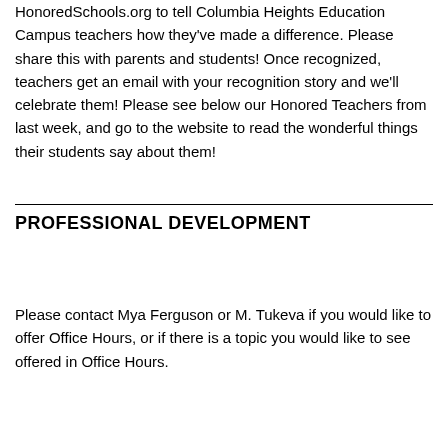HonoredSchools.org to tell Columbia Heights Education Campus teachers how they've made a difference. Please share this with parents and students! Once recognized, teachers get an email with your recognition story and we'll celebrate them! Please see below our Honored Teachers from last week, and go to the website to read the wonderful things their students say about them!
PROFESSIONAL DEVELOPMENT
Please contact Mya Ferguson or M. Tukeva if you would like to offer Office Hours, or if there is a topic you would like to see offered in Office Hours.